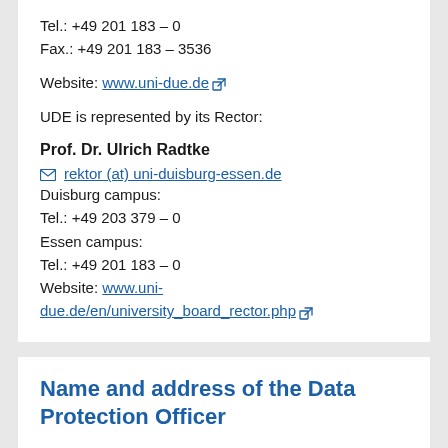Tel.: +49 201 183 – 0
Fax.: +49 201 183 – 3536

Website: www.uni-due.de

UDE is represented by its Rector:

Prof. Dr. Ulrich Radtke
rektor (at) uni-duisburg-essen.de
Duisburg campus:
Tel.: +49 203 379 – 0
Essen campus:
Tel.: +49 201 183 – 0
Website: www.uni-due.de/en/university_board_rector.php
Name and address of the Data Protection Officer